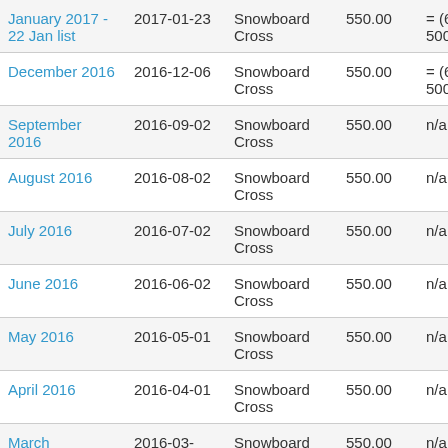| January 2017 - 22 Jan list | 2017-01-23 | Snowboard Cross | 550.00 | = (600.00 + 500.00) / 2 |
| December 2016 | 2016-12-06 | Snowboard Cross | 550.00 | = (600.00 + 500.00) / 2 |
| September 2016 | 2016-09-02 | Snowboard Cross | 550.00 | n/a |
| August 2016 | 2016-08-02 | Snowboard Cross | 550.00 | n/a |
| July 2016 | 2016-07-02 | Snowboard Cross | 550.00 | n/a |
| June 2016 | 2016-06-02 | Snowboard Cross | 550.00 | n/a |
| May 2016 | 2016-05-01 | Snowboard Cross | 550.00 | n/a |
| April 2016 | 2016-04-01 | Snowboard Cross | 550.00 | n/a |
| March | 2016-03-... | Snowboard | 550.00 | n/a |